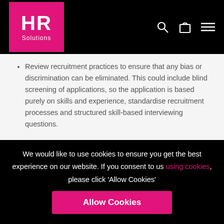HR Solutions
Review recruitment practices to ensure that any bias or discrimination can be eliminated. This could include blind screening of applications, so the application is based purely on skills and experience, standardise recruitment processes and structured skill-based interviewing questions.
Our website uses tracking technologies to learn how our visitors interact with our site so
We would like to use cookies to ensure you get the best experience on our website. If you consent to us using cookies, please click 'Allow Cookies'
Allow Cookies